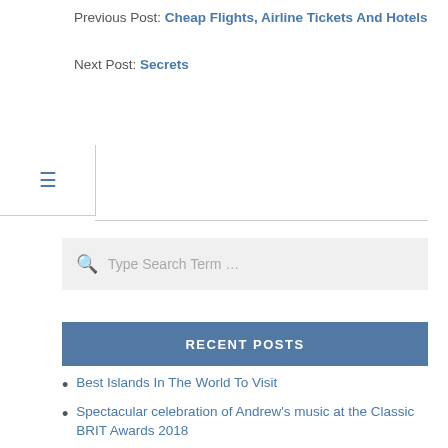Previous Post: Cheap Flights, Airline Tickets And Hotels
Next Post: Secrets
Type Search Term …
RECENT POSTS
Best Islands In The World To Visit
Spectacular celebration of Andrew's music at the Classic BRIT Awards 2018
Things to take with you to the beach
Mountain Climbing Tips For Beginners
Billboard Charts will now count Facebook music video